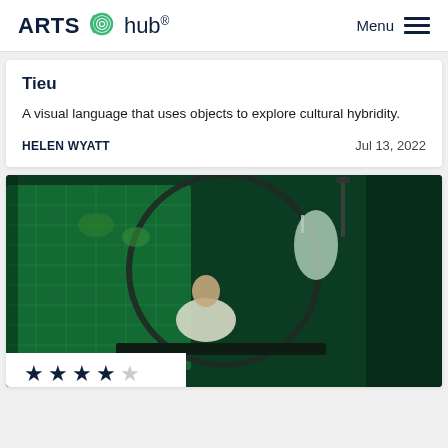ARTS hub® Menu
Tieu
A visual language that uses objects to explore cultural hybridity.
HELEN WYATT   Jul 13, 2022
[Figure (photo): Person in white outfit working at a table inside a large circular frame, surrounded by hanging ornaments and green-lit background with foliage projections. A white chandelier-like decoration hangs in the foreground. Stars rating overlay shows 4 out of 5 stars.]